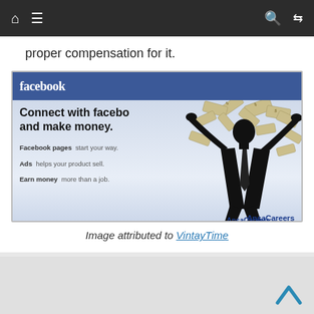Navigation bar with home, menu, search, and shuffle icons
proper compensation for it.
[Figure (illustration): Facebook-styled advertisement image showing 'Connect with facebook and make money.' with a silhouette of a person with arms raised and dollar bills flying. Includes sections: Facebook pages - start your way, Ads - helps your product sell, Earn money - more than a job. Branded with AnsaCareers.]
Image attributed to VintayTime